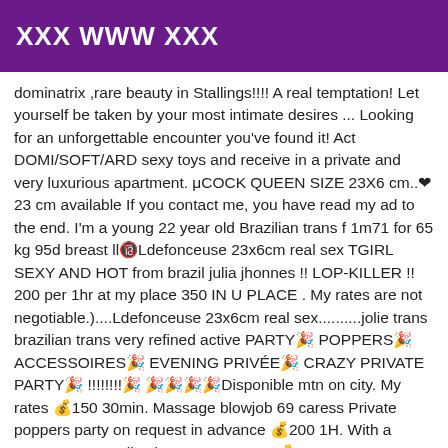XXX WWW XXX
dominatrix ,rare beauty in Stallings!!!! A real temptation! Let yourself be taken by your most intimate desires ... Looking for an unforgettable encounter you've found it! Act DOMI/SOFT/ARD sexy toys and receive in a private and very luxurious apartment. μCOCK QUEEN SIZE 23X6 cm..❤23 cm available If you contact me, you have read my ad to the end. I'm a young 22 year old Brazilian trans f 1m71 for 65 kg 95d breast ll🔞Ldefonceuse 23x6cm real sex TGIRL SEXY AND HOT from brazil julia jhonnes !! LOP-KILLER !! 200 per 1hr at my place 350 IN U PLACE . My rates are not negotiable.)....Ldefonceuse 23x6cm real sex..........jolie trans brazilian trans very refined active PARTY🎉 POPPERS🎉 ACCESSOIRES🎉 EVENING PRIVÉE🎉 CRAZY PRIVATE PARTY🎉 !!!!!!!!🎉 🎉🎉🎉🎉Disponible mtn on city. My rates 💰150 30min. Massage blowjob 69 caress Private poppers party on request in advance 💰200 1H. With a protect report Julia Jhonnes Porn Star💰200 1H. For domination ( insult